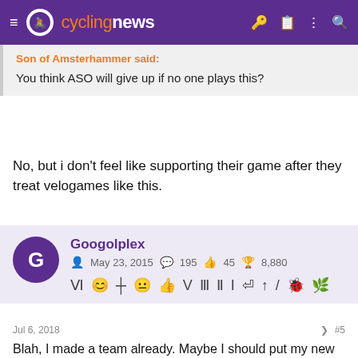cyclingnews
Son of Amsterhammer said:
You think ASO will give up if no one plays this?
No, but i don't feel like supporting their game after they treat velogames like this.
Googolplex
May 23, 2015  195  45  8,880
Jul 6, 2018  #5
Blah, I made a team already. Maybe I should put my new right to be forgotten in action.